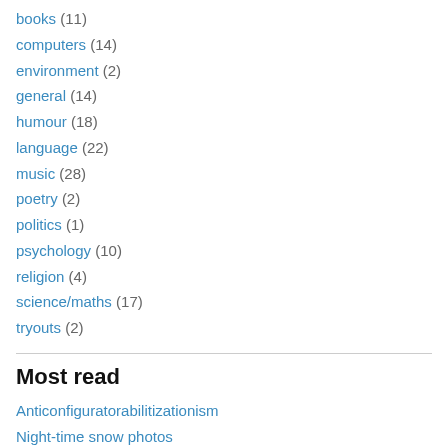books (11)
computers (14)
environment (2)
general (14)
humour (18)
language (22)
music (28)
poetry (2)
politics (1)
psychology (10)
religion (4)
science/maths (17)
tryouts (2)
Most read
Anticonfiguratorabilitizationism
Night-time snow photos
Annual report? Really? Apparently . . .